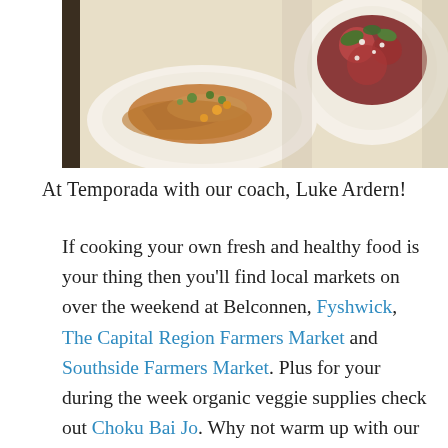[Figure (photo): Photo of two restaurant dishes on white plates — a fish dish with sauce and herbs on the left, and a salad bowl on the right, on a white tablecloth.]
At Temporada with our coach, Luke Ardern!
If cooking your own fresh and healthy food is your thing then you'll find local markets on over the weekend at Belconnen, Fyshwick, The Capital Region Farmers Market and Southside Farmers Market. Plus for your during the week organic veggie supplies check out Choku Bai Jo. Why not warm up with our easy healthy curry and some of our paleo pita bread? You can make it in under 30 minutes and finish off